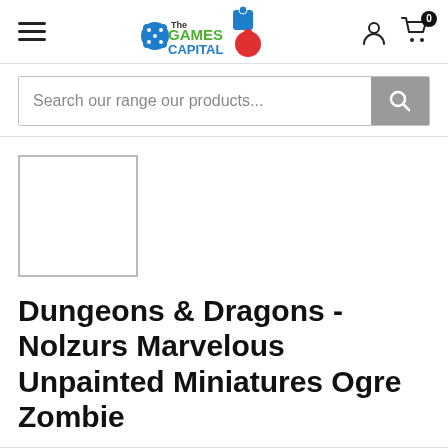The Games Capital — navigation header with hamburger menu, logo, user icon, and cart (0)
Search our range our products...
[Figure (photo): Empty white product image placeholder box with grey border]
Dungeons & Dragons - Nolzurs Marvelous Unpainted Miniatures Ogre Zombie
GOOD GAMES